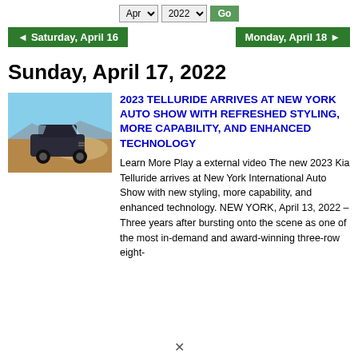Apr 2022 Go
Saturday, April 16  |  Monday, April 18
Sunday, April 17, 2022
[Figure (photo): A dark SUV (Kia Telluride) driving off-road on a dusty dirt surface with mountains in the background]
2023 TELLURIDE ARRIVES AT NEW YORK AUTO SHOW WITH REFRESHED STYLING, MORE CAPABILITY, AND ENHANCED TECHNOLOGY
Learn More Play a external video The new 2023 Kia Telluride arrives at New York International Auto Show with new styling, more capability, and enhanced technology. NEW YORK, April 13, 2022 – Three years after bursting onto the scene as one of the most in-demand and award-winning three-row eight-